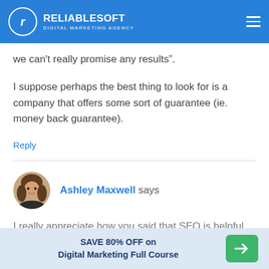RELIABLESOFT DIGITAL MARKETING AGENCY
we can't really promise any results".
I suppose perhaps the best thing to look for is a company that offers some sort of guarantee (ie. money back guarantee).
Reply
[Figure (photo): Circular avatar photo of Ashley Maxwell, a woman with shoulder-length brown hair]
Ashley Maxwell says
I really appreciate how you said that SEO is helpful
SAVE 80% OFF on Digital Marketing Full Course